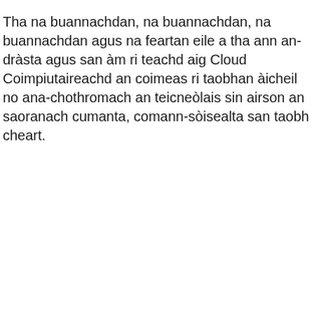Tha na buannachdan, na buannachdan, na buannachdan agus na feartan eile a tha ann an-dràsta agus san àm ri teachd aig Cloud Coimpiutaireachd an coimeas ri taobhan àicheil no ana-chothromach an teicneòlais sin airson an saoranach cumanta, comann-sòisealta san taobh cheart.